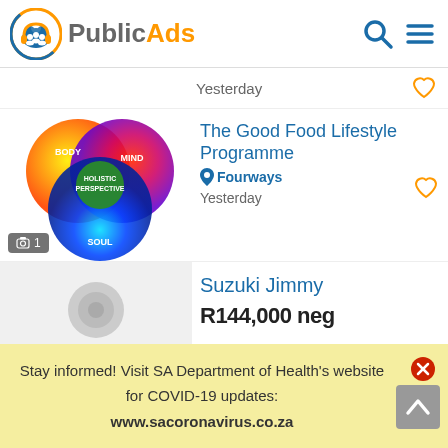PublicAds
Yesterday
[Figure (illustration): Venn diagram with three overlapping circles labeled BODY (orange/yellow), MIND (red/blue), SOUL (blue/cyan), with central green circle labeled HOLISTIC PERSPECTIVE]
The Good Food Lifestyle Programme
Fourways
Yesterday
Suzuki Jimmy
R144,000 neg
Stay informed! Visit SA Department of Health's website for COVID-19 updates: www.sacoronavirus.co.za